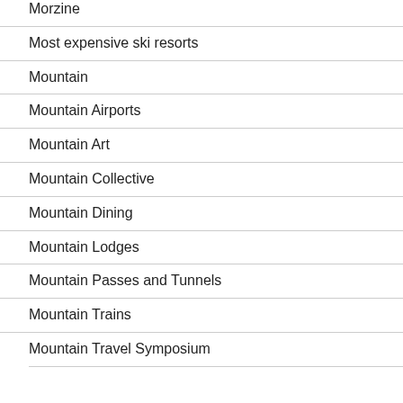Morzine
Most expensive ski resorts
Mountain
Mountain Airports
Mountain Art
Mountain Collective
Mountain Dining
Mountain Lodges
Mountain Passes and Tunnels
Mountain Trains
Mountain Travel Symposium